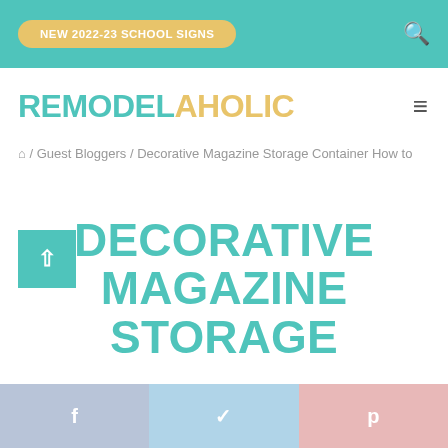NEW 2022-23 SCHOOL SIGNS
[Figure (logo): Remodelaholic logo — REMODEL in teal, AHOLIC in gold/yellow, bold large text]
🏠 / Guest Bloggers / Decorative Magazine Storage Container How to
DECORATIVE MAGAZINE STORAGE
f  (facebook share)  |  (twitter share)  |  p (pinterest share)